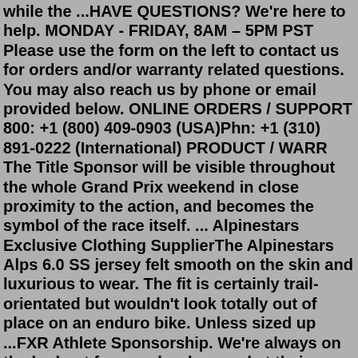while the ...HAVE QUESTIONS? We're here to help. MONDAY - FRIDAY, 8AM – 5PM PST Please use the form on the left to contact us for orders and/or warranty related questions. You may also reach us by phone or email provided below. ONLINE ORDERS / SUPPORT 800: +1 (800) 409-0903 (USA)Phn: +1 (310) 891-0222 (International) PRODUCT / WARR The Title Sponsor will be visible throughout the whole Grand Prix weekend in close proximity to the action, and becomes the symbol of the race itself. ... Alpinestars Exclusive Clothing SupplierThe Alpinestars Alps 6.0 SS jersey felt smooth on the skin and luxurious to wear. The fit is certainly trail-orientated but wouldn't look totally out of place on an enduro bike. Unless sized up ...FXR Athlete Sponsorship. We're always on the lookout for people who excel at their passions and want to work as supporters of the FXR brand in a positive and professional manner! SNOW APPLICATION. MOTO APPLICATION. PRO FISH APPLICATION.Red and White 100% cotton Race